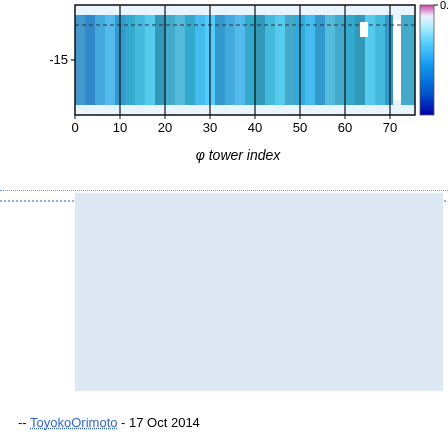[Figure (continuous-plot): Partial 2D heat map / color map showing phi tower index (x-axis, 0 to 70+) versus a y-axis value around -15. Color scale from blue (low) to white/purple (~0.05 high). Color bar on right shows scale up to 0.05.]
-- ToyokoOrimoto - 17 Oct 2014